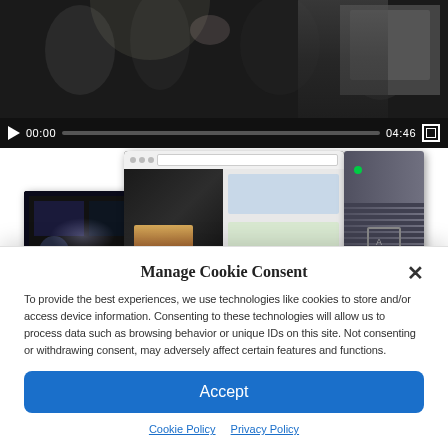[Figure (screenshot): Video player showing people at a trade show. Controls show 00:00 / 04:46 with play button and progress bar.]
[Figure (screenshot): Product photo showing security/surveillance system devices: a tablet/laptop on left with dark screen, a center monitor showing video management software with map view, and a tower server on the right.]
Manage Cookie Consent
To provide the best experiences, we use technologies like cookies to store and/or access device information. Consenting to these technologies will allow us to process data such as browsing behavior or unique IDs on this site. Not consenting or withdrawing consent, may adversely affect certain features and functions.
Accept
Cookie Policy   Privacy Policy